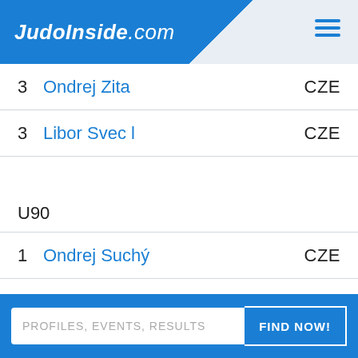JudoInside.com
3  Ondrej Zita  CZE
3  Libor Svec l  CZE
U90
1  Ondrej Suchý  CZE
2  Michal Hubacek  CZE
3  David Prinda  CZE
3  Jindrich Drahos  CZE
PROFILES, EVENTS, RESULTS  FIND NOW!